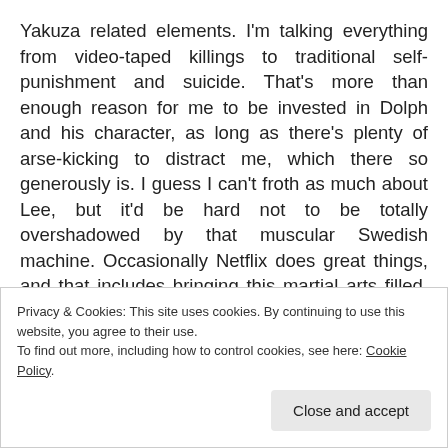Yakuza related elements. I'm talking everything from video-taped killings to traditional self-punishment and suicide. That's more than enough reason for me to be invested in Dolph and his character, as long as there's plenty of arse-kicking to distract me, which there so generously is. I guess I can't froth as much about Lee, but it'd be hard not to be totally overshadowed by that muscular Swedish machine. Occasionally Netflix does great things, and that includes bringing this martial arts filled, buddy cop flick to my attention. The barrier for entry is so low, just go and watch it already!
Privacy & Cookies: This site uses cookies. By continuing to use this website, you agree to their use. To find out more, including how to control cookies, see here: Cookie Policy